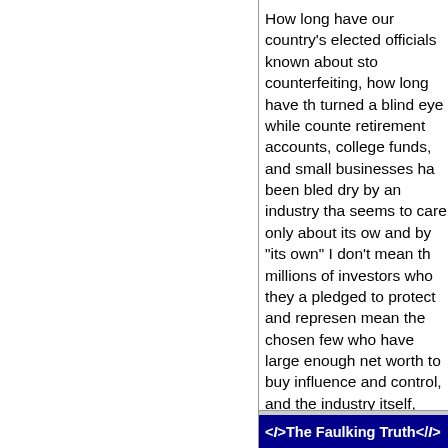How long have our country's elected officials known about stock counterfeiting, how long have they turned a blind eye while counter retirement accounts, college funds, and small businesses have been bled dry by an industry that seems to care only about its own, and by "its own" I don't mean the millions of investors who they are pledged to protect and represent, mean the chosen few who have large enough net worth to buy influence and control, and the industry itself, who profits to the tune of billions of dollars a year from buying and selling shares of stock that don't exist?
Read more
<I>The Faulking Truth</I>